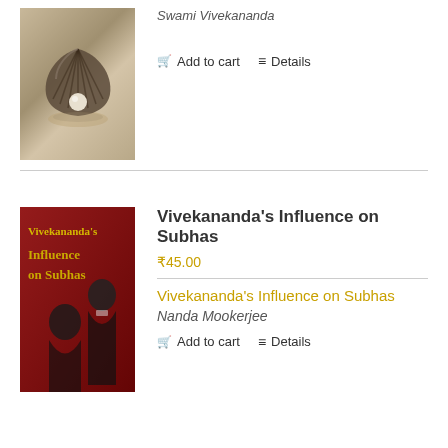[Figure (photo): Book cover showing a shell with a pearl on a beige background]
Swami Vivekananda
Add to cart   Details
[Figure (photo): Book cover of 'Vivekananda's Influence on Subhas' with portraits of Vivekananda and Subhas Chandra Bose on a dark red background]
Vivekananda's Influence on Subhas
₹45.00
Vivekananda's Influence on Subhas
Nanda Mookerjee
Add to cart   Details